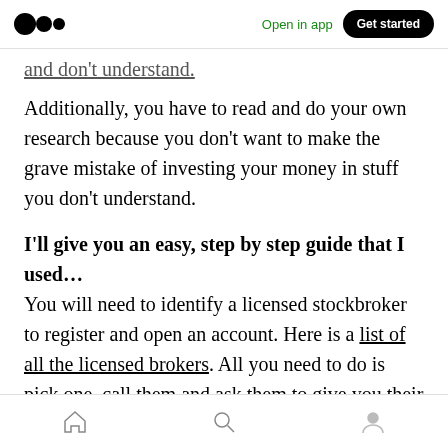Medium logo | Open in app | Get started
…and don't understand.
Additionally, you have to read and do your own research because you don't want to make the grave mistake of investing your money in stuff you don't understand.
I'll give you an easy, step by step guide that I used… You will need to identify a licensed stockbroker to register and open an account. Here is a list of all the licensed brokers. All you need to do is pick one, call them and ask them to give you their list of requirements.
Home | Search | Profile